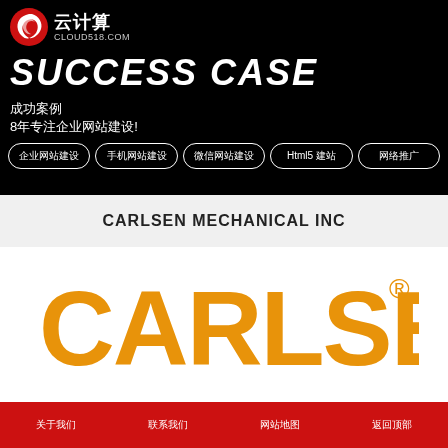云计算 CLOUD518.COM
SUCCESS CASE
成功案例
8年专注企业网站建设!
企业网站建设
手机网站建设
微信网站建设
Html5 建站
网络推广
CARLSEN MECHANICAL INC
[Figure (logo): Carlsen logo in orange/gold color with registered trademark symbol]
关于我们  联系我们  网站地图  返回顶部